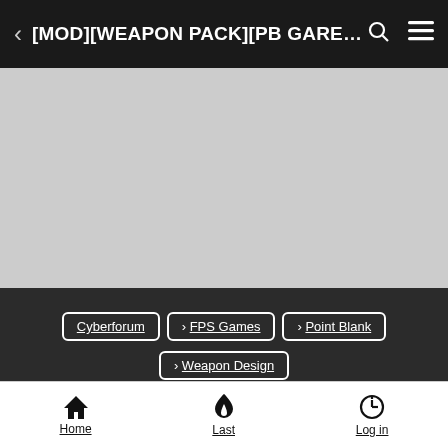[MOD][WEAPON PACK][PB GAREN...
[Figure (other): Gray placeholder area for an image or advertisement]
Cyberforum > FPS Games > Point Blank > Weapon Design
[MOD][WEAPON PACK][PB GARENA]V2
Home  Last  Log in